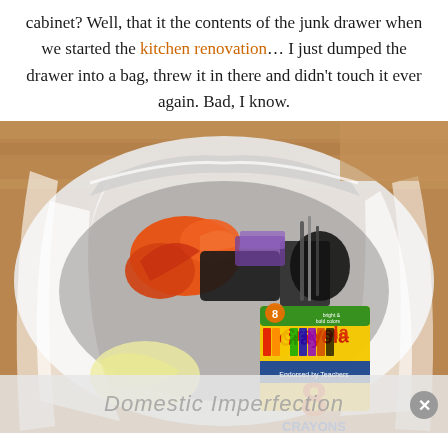cabinet? Well, that it the contents of the junk drawer when we started the kitchen renovation… I just dumped the drawer into a bag, threw it in there and didn't touch it ever again. Bad, I know.
[Figure (photo): A white plastic grocery bag filled with miscellaneous junk drawer items including orange cloth/fabric, a Crayola 8 Crayons box, black items, pens, and other miscellaneous objects. Photographed on a wood floor.]
Domestic Imperfection